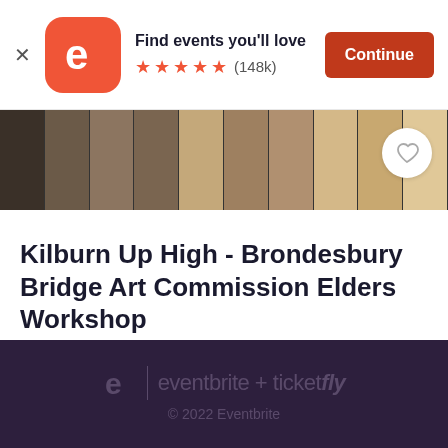[Figure (screenshot): Eventbrite app banner with logo, 'Find events you'll love', 5 orange stars, (148k) reviews, and orange Continue button]
[Figure (photo): Horizontal strip of framed artwork photos in muted brown and golden tones]
Kilburn Up High - Brondesbury Bridge Art Commission Elders Workshop
Fri, Sep 9, 10:00 AM
Kiln Theatre • London
Free
eventbrite + ticketfly © 2022 Eventbrite